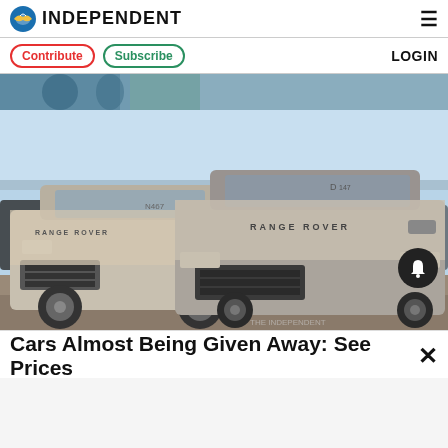INDEPENDENT
Contribute | Subscribe | LOGIN
[Figure (photo): Two dust-covered Range Rover SUVs parked in an outdoor lot under a clear sky.]
Cars Almost Being Given Away: See Prices ×